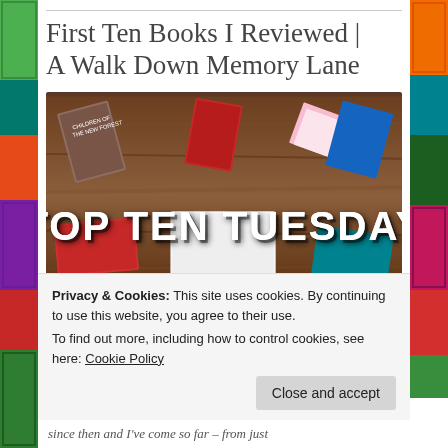First Ten Books I Reviewed | A Walk Down Memory Lane
[Figure (photo): Top Ten Tuesday banner image showing various books spread on a wooden table with 'TOP TEN TUESDAY' text overlay in white block letters]
Privacy & Cookies: This site uses cookies. By continuing to use this website, you agree to their use.
To find out more, including how to control cookies, see here: Cookie Policy
since then and I've come so far – from just